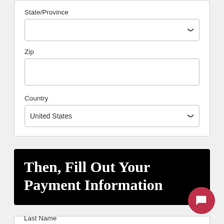State/Province
Zip
Country
United States
Then, Fill Out Your Payment Information
First Name
Last Name